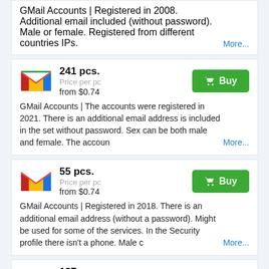GMail Accounts | Registered in 2008. Additional email included (without password). Male or female. Registered from different countries IPs. More...
[Figure (logo): Gmail M logo]
241 pcs. Price per pc from $0.74
GMail Accounts | The accounts were registered in 2021. There is an additional email address is included in the set without password. Sex can be both male and female. The accoun More...
[Figure (logo): Gmail M logo]
55 pcs. Price per pc from $0.74
GMail Accounts | Registered in 2018. There is an additional email address (without a password). Might be used for some of the services. In the Security profile there isn't a phone. Male c More...
[Figure (logo): Gmail M logo]
137 pcs. Price per pc from $0.833
GMail Accounts | The accounts were registered in 2016. There is an additional email address(without a password). Sex can be